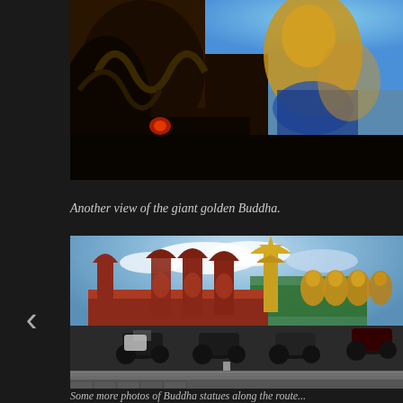[Figure (photo): Close-up view of ornate Buddhist temple decorations and statues including a golden Buddha figure against a blue sky background, with dark intricate carvings and decorative elements in the foreground.]
Another view of the giant golden Buddha.
[Figure (photo): Street-level photograph showing multiple motorcycles parked in front of a Buddhist temple complex featuring red shrine structures with Buddha statues, golden Buddha figures, and an ornate gold pavilion, with cloudy sky in the background.]
Some caption text partially visible at bottom (cut off)